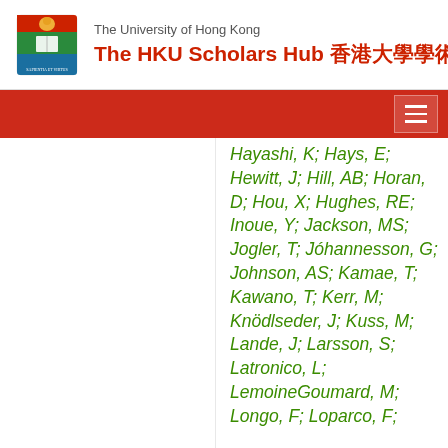The University of Hong Kong — The HKU Scholars Hub 香港大學學術庫
Hayashi, K; Hays, E; Hewitt, J; Hill, AB; Horan, D; Hou, X; Hughes, RE; Inoue, Y; Jackson, MS; Jogler, T; Jóhannesson, G; Johnson, AS; Kamae, T; Kawano, T; Kerr, M; Knödlseder, J; Kuss, M; Lande, J; Larsson, S; Latronico, L; LemoineGoumard, M; Longo, F; Loparco, F;